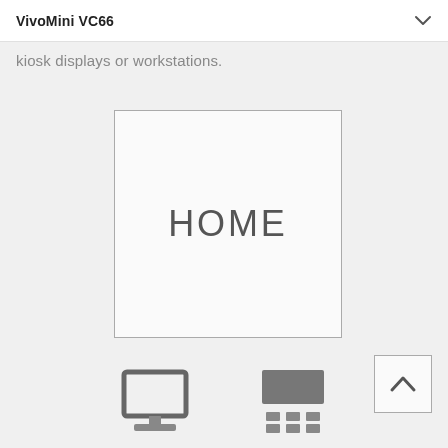VivoMini VC66
kiosk displays or workstations.
[Figure (screenshot): A large square box with thin border containing the text HOME centered inside, representing a home screen UI element]
[Figure (other): Scroll-to-top button: square box with upward chevron arrow]
[Figure (other): Two device icons at the bottom: a laptop/monitor icon on the left and a kiosk/display stand icon on the right]